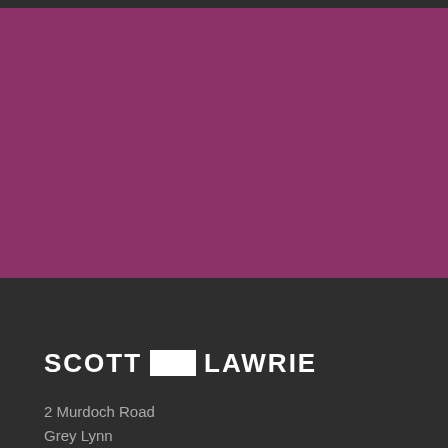[Figure (illustration): Large purple/magenta rectangular block filling the upper portion of the page]
[Figure (logo): Scott Lawrie logo: text SCOTT, white rectangle, text LAWRIE in white bold uppercase letters on dark background]
2 Murdoch Road
Grey Lynn